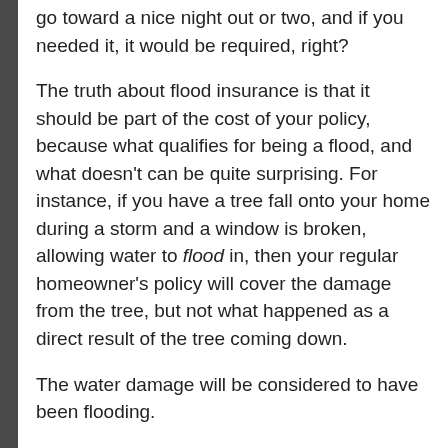go toward a nice night out or two, and if you needed it, it would be required, right?
The truth about flood insurance is that it should be part of the cost of your policy, because what qualifies for being a flood, and what doesn’t can be quite surprising. For instance, if you have a tree fall onto your home during a storm and a window is broken, allowing water to flood in, then your regular homeowner’s policy will cover the damage from the tree, but not what happened as a direct result of the tree coming down.
The water damage will be considered to have been flooding.
Recap - Remember the Basics
This is a lot of information, but you can secure your family’s assets by understanding the following: